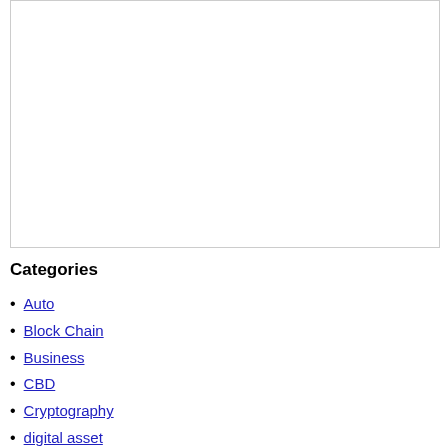[Figure (other): Empty white bordered image box]
Categories
Auto
Block Chain
Business
CBD
Cryptography
digital asset